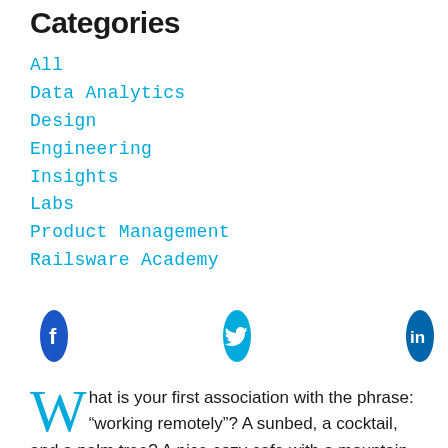Categories
All
Data Analytics
Design
Engineering
Insights
Labs
Product Management
Railsware Academy
[Figure (other): Three social media icons: Facebook (dark blue circle with 'f'), Twitter (cyan circle with bird), LinkedIn (dark blue circle with 'in')]
What is your first association with the phrase: “working remotely”? A sunbed, a cocktail, and a palm tree? A nice cozy cafe with a mountain view? Or maybe your favorite green sofa and